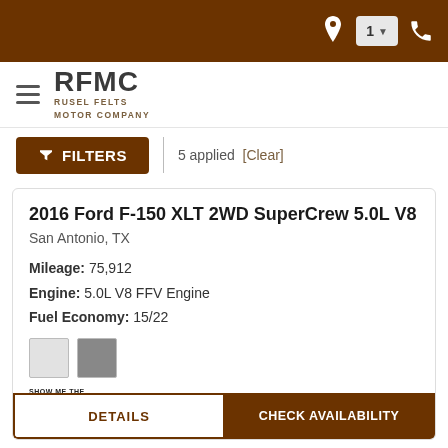RFMC - Rusel Felts Motor Company navigation header with location, badge, and phone icons
[Figure (logo): RFMC Rusel Felts Motor Company logo with hamburger menu]
FILTERS | 5 applied [Clear]
2016 Ford F-150 XLT 2WD SuperCrew 5.0L V8
San Antonio, TX
Mileage: 75,912
Engine: 5.0L V8 FFV Engine
Fuel Economy: 15/22
[Figure (illustration): Two color swatches: light gray and dark gray]
[Figure (logo): Show Me The Carfax - Good Value badge]
Price  $27,986
DETAILS | CHECK AVAILABILITY